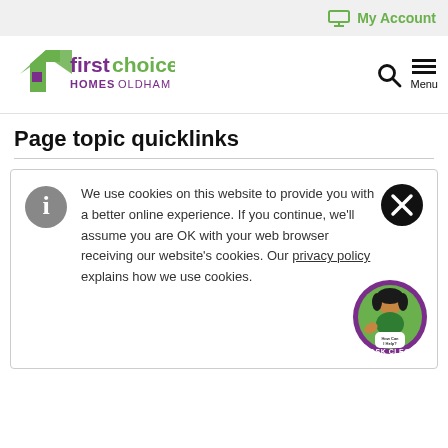My Account
[Figure (logo): First Choice Homes Oldham logo with green house/arrow icon and purple/green text]
Page topic quicklinks
We use cookies on this website to provide you with a better online experience. If you continue, we'll assume you are OK with your web browser receiving our website's cookies. Our privacy policy explains how we use cookies.